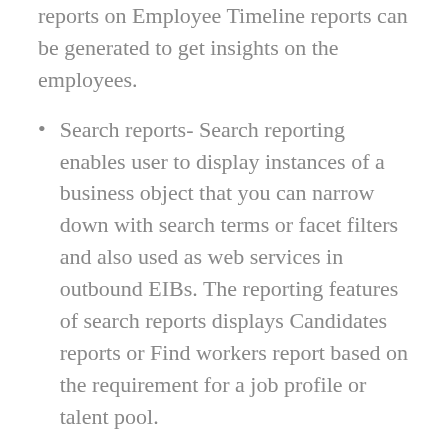reports on Employee Timeline reports can be generated to get insights on the employees.
Search reports- Search reporting enables user to display instances of a business object that you can narrow down with search terms or facet filters and also used as web services in outbound EIBs. The reporting features of search reports displays Candidates reports or Find workers report based on the requirement for a job profile or talent pool.
nBox reports- nBox reporting had the feature to display counts of business object instances in a 2-dimensional matrix, that enables the user to compare and visualize objects across 2 fields. Report on Talent Matrix - Performance by Potential is an example using the feature of nBox reporting.